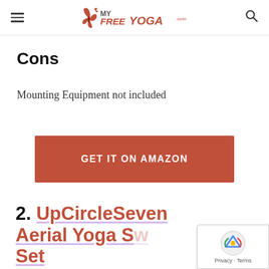MyFreeYoga.com logo with hamburger menu and search icon
Cons
Mounting Equipment not included
GET IT ON AMAZON
2. UpCircleSeven Aerial Yoga Swing Set